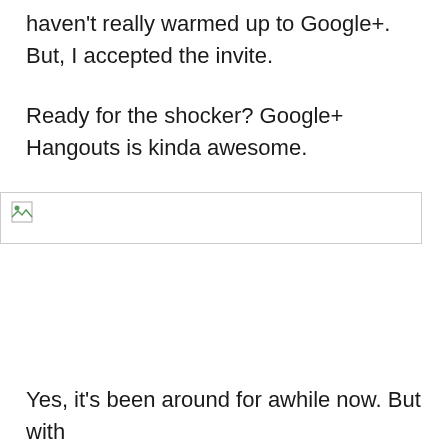haven't really warmed up to Google+. But, I accepted the invite.
Ready for the shocker? Google+ Hangouts is kinda awesome.
[Figure (photo): Broken image placeholder with small broken image icon in top-left corner]
Yes, it's been around for awhile now. But with